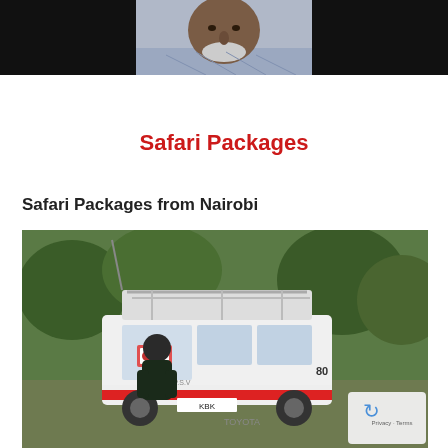[Figure (photo): Top portion of a webpage showing a man's face/headshot photo centered against a black background banner]
Safari Packages
Safari Packages from Nairobi
[Figure (photo): A white safari van (Toyota, license plate KBK) parked in a green outdoor area with trees, a person standing behind it, and a reCAPTCHA privacy badge visible in the bottom-right corner]